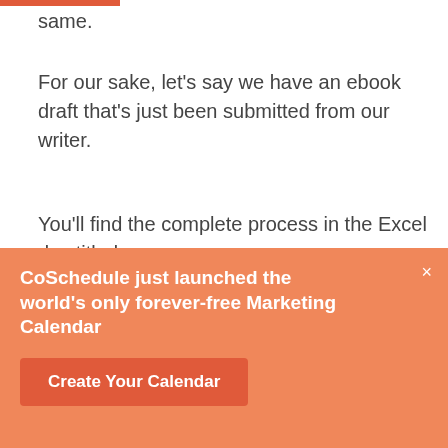same.
For our sake, let's say we have an ebook draft that's just been submitted from our writer.
You'll find the complete process in the Excel doc titled: "Content_Editing_Process_Template."
[Figure (screenshot): Screenshot of a CoSchedule Excel spreadsheet titled 'Content Editing Process Checklist' with a green 'Get free Evernote template' button, a red section row labeled '1. Submit → Tasks / Who / Due / Done?', and two data rows showing tasks submitted to editor.]
CoSchedule just launched the world's only forever-free Marketing Calendar
Create Your Calendar